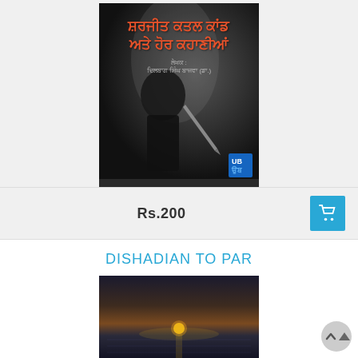[Figure (photo): Book cover with dark background showing a silhouette of a person with a knife. Title in Punjabi (Gurmukhi script) in orange-red text and author name in light text. Publisher logo in bottom right corner.]
Rs.200
DISHADIAN TO PAR
[Figure (photo): Book cover showing a sunset over the ocean/sea with dramatic sky.]